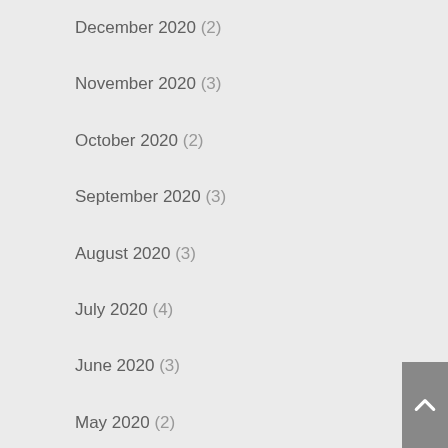December 2020 (2)
November 2020 (3)
October 2020 (2)
September 2020 (3)
August 2020 (3)
July 2020 (4)
June 2020 (3)
May 2020 (2)
April 2020 (2)
March 2020 (3)